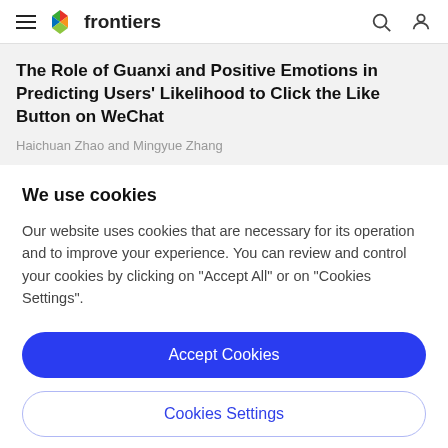frontiers
The Role of Guanxi and Positive Emotions in Predicting Users' Likelihood to Click the Like Button on WeChat
Haichuan Zhao and Mingyue Zhang
We use cookies
Our website uses cookies that are necessary for its operation and to improve your experience. You can review and control your cookies by clicking on "Accept All" or on "Cookies Settings".
Accept Cookies
Cookies Settings